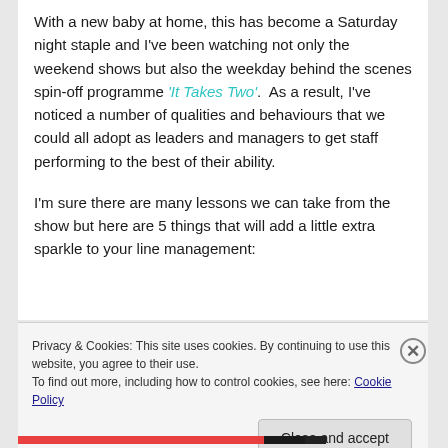With a new baby at home, this has become a Saturday night staple and I've been watching not only the weekend shows but also the weekday behind the scenes spin-off programme 'It Takes Two'.  As a result, I've noticed a number of qualities and behaviours that we could all adopt as leaders and managers to get staff performing to the best of their ability.
I'm sure there are many lessons we can take from the show but here are 5 things that will add a little extra sparkle to your line management:
Privacy & Cookies: This site uses cookies. By continuing to use this website, you agree to their use.
To find out more, including how to control cookies, see here: Cookie Policy
Close and accept